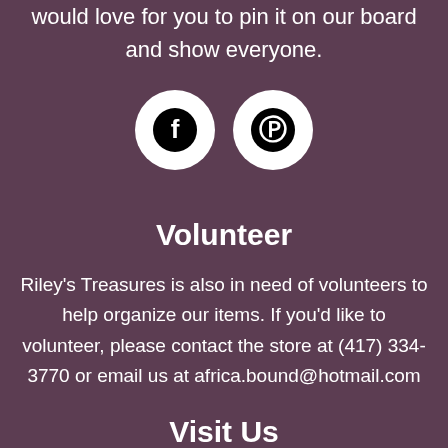would love for you to pin it on our board and show everyone.
[Figure (illustration): Two white circles with social media icons: Facebook (f) and Pinterest (P) on dark purple background]
Volunteer
Riley's Treasures is also in need of volunteers to help organize our items. If you'd like to volunteer, please contact the store at (417) 334-3770 or email us at africa.bound@hotmail.com
Visit Us